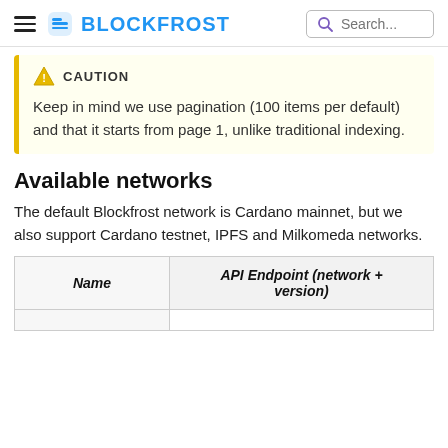BLOCKFROST  Search...
CAUTION
Keep in mind we use pagination (100 items per default) and that it starts from page 1, unlike traditional indexing.
Available networks
The default Blockfrost network is Cardano mainnet, but we also support Cardano testnet, IPFS and Milkomeda networks.
| Name | API Endpoint (network + version) |
| --- | --- |
|  |  |